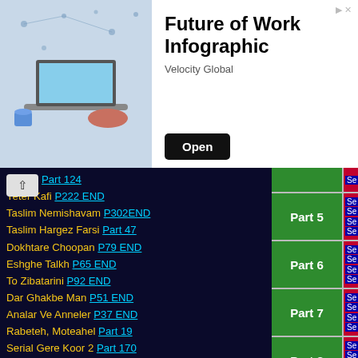[Figure (infographic): Advertisement banner for 'Future of Work Infographic' by Velocity Global with an Open button]
Future of Work Infographic
Velocity Global
Eshgh Part 124
Yeter Kafi P222 END
Taslim Nemishavam P302END
Taslim Hargez Farsi Part 47
Dokhtare Choopan P79 END
Eshghe Talkh P65 END
To Zibatarini P92 END
Dar Ghakbe Man P51 END
Analar Ve Anneler P37 END
Rabeteh, Moteahel Part 19
Serial Gere Koor 2 Part 170
Serial Ab Zire Kah Part 17
Serial Rangarang Part 32
Serial 46 Napadid Part 23
Eshghe Parandeh Part 33
Eshghe Dorough Part 39
ParandeKoshEghbal 255END
Serial Yekdel Part 110
Serial Lake Part 45
| Part | Se links |
| --- | --- |
| Part 5 |  |
| Part 6 |  |
| Part 7 |  |
| Part 8 |  |